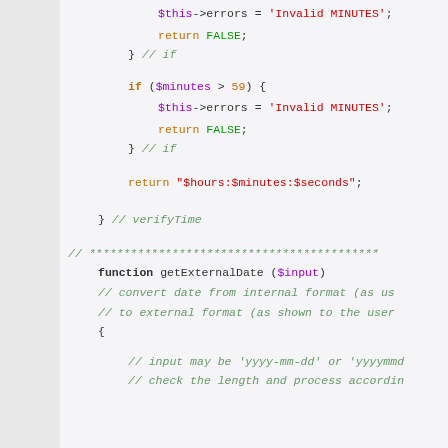[Figure (screenshot): PHP source code snippet showing verifyTime function closing and getExternalDate function opening, with syntax highlighting. Code includes error checks for minutes > 59, a return statement with a time string, and the beginning of getExternalDate function with comments.]